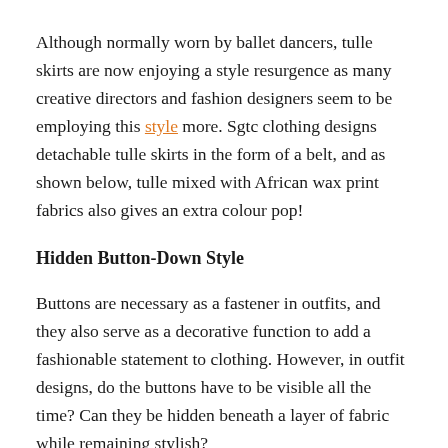Although normally worn by ballet dancers, tulle skirts are now enjoying a style resurgence as many creative directors and fashion designers seem to be employing this style more. Sgtc clothing designs detachable tulle skirts in the form of a belt, and as shown below, tulle mixed with African wax print fabrics also gives an extra colour pop!
Hidden Button-Down Style
Buttons are necessary as a fastener in outfits, and they also serve as a decorative function to add a fashionable statement to clothing. However, in outfit designs, do the buttons have to be visible all the time? Can they be hidden beneath a layer of fabric while remaining stylish?